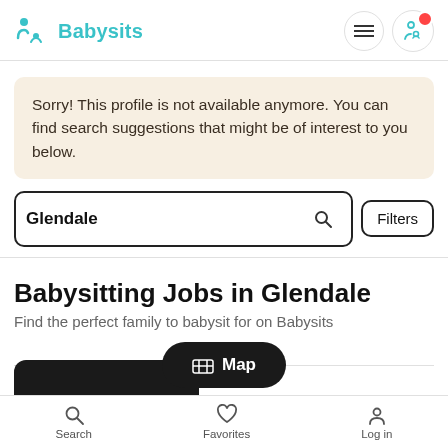Babysits
Sorry! This profile is not available anymore. You can find search suggestions that might be of interest to you below.
Glendale  Filters
Babysitting Jobs in Glendale
Find the perfect family to babysit for on Babysits
[Figure (screenshot): Map button with map icon]
Search  Favorites  Log in